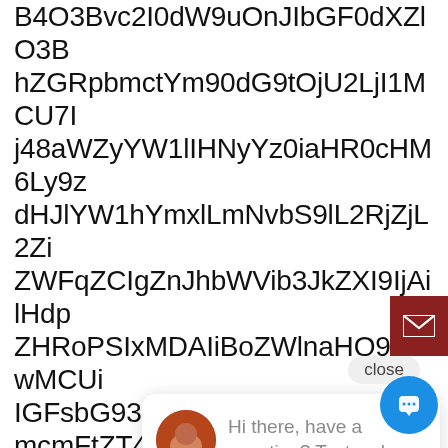B4O3Bvc2I0dW9uOnJIbGF0dXZlO3B hZGRpbmctYm90dG9tOjU2LjI1MCU7I j48aWZyYW1lIHNyYz0iaHR0cHM6Ly9z dHJlYW1hYmxlLmNvbS9lL2RjZjL2Zi ZWFqZCIgZnJhbWVib3JkZXI9IjkZXI9IjAilHdp ZHRoPSIxMDAIiBoZWlnaHQ9IjEwMCUi IGFsbG93ZnVsbHNjcmVlbj48L2lmcmFtZT4 d2lkdGg9MTAwJTtoZWlnaHQ9MTAw JTtwb3NpdGlvbjphYnNvbHV0ZTtt WZ0OjBweRiOhR2lDiMiiR4A30GZY bG93OmhiZGRlbjt9PC9zdHlsZT4 wvZGI2Pg [/cmsmasters_column] [/cmsmasters_row] [cmsmasters_row data_padding_bottom="50"
[Figure (screenshot): Email button (dark red/brown square with white envelope icon) overlaid on the right side of the page]
[Figure (screenshot): Chat popup with close label, avatar photo of a woman, and text 'Hi there, have a question? Text us here.' with a blue circular chat button]